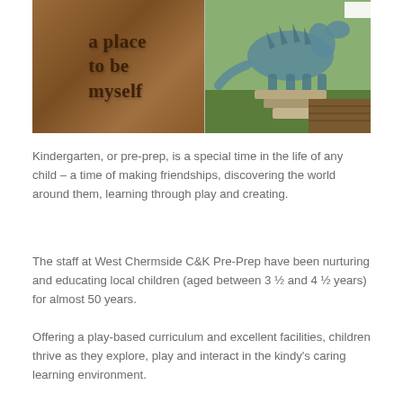[Figure (photo): Two-panel photo: left panel shows a carved wooden sign reading 'a place to be myself' on a warm brown background; right panel shows an outdoor area with a painted dinosaur mural on a wall, stone steps, and green grass.]
Kindergarten, or pre-prep, is a special time in the life of any child – a time of making friendships, discovering the world around them, learning through play and creating.
The staff at West Chermside C&K Pre-Prep have been nurturing and educating local children (aged between 3 ½ and 4 ½ years) for almost 50 years.
Offering a play-based curriculum and excellent facilities, children thrive as they explore, play and interact in the kindy's caring learning environment.